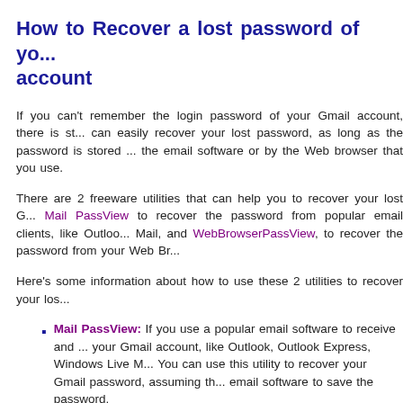How to Recover a lost password of your Gmail account
If you can't remember the login password of your Gmail account, there is still a way you can easily recover your lost password, as long as the password is stored in the email software or by the Web browser that you use.
There are 2 freeware utilities that can help you to recover your lost Gmail password: Mail PassView to recover the password from popular email clients, like Outlook, Outlook Express, Windows Live Mail, and WebBrowserPassView, to recover the password from your Web Browser.
Here's some information about how to use these 2 utilities to recover your lost Gmail password:
Mail PassView: If you use a popular email software to receive and read emails of your Gmail account, like Outlook, Outlook Express, Windows Live Mail... You can use this utility to recover your Gmail password, assuming that you allowed the email software to save the password. In order to use this utility to recover your password, download Mail PassView directly from this link. After you download it, open the zip file and run the mailpv.exe executable. Be aware that because this utility can extract password from your system, your Antivirus software might display an alert and even block you from running this .exe file.
After running Mail PassView, the main window displays the details of all email accounts found in your system. In order to find the password of your Gmail